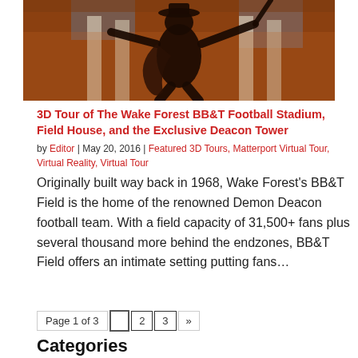[Figure (photo): Bronze statue of the Wake Forest Demon Deacon mascot in front of a brick building with columns, photographed from a low angle with orange/warm lighting]
3D Tour of The Wake Forest BB&T Football Stadium, Field House, and the Exclusive Deacon Tower
by Editor | May 20, 2016 | Featured 3D Tours, Matterport Virtual Tour, Virtual Reality, Virtual Tour
Originally built way back in 1968, Wake Forest's BB&T Field is the home of the renowned Demon Deacon football team. With a field capacity of 31,500+ fans plus several thousand more behind the endzones, BB&T Field offers an intimate setting putting fans...
Page 1 of 3  1  2  3  »
Categories